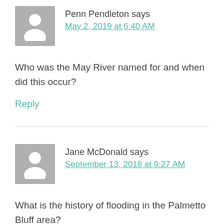Penn Pendleton says
May 2, 2019 at 6:40 AM
Who was the May River named for and when did this occur?
Reply
Jane McDonald says
September 13, 2018 at 9:27 AM
What is the history of flooding in the Palmetto Bluff area?